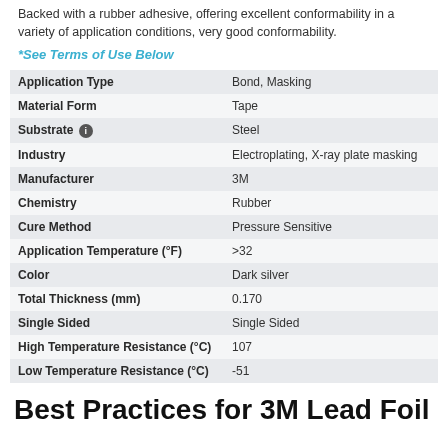Backed with a rubber adhesive, offering excellent conformability in a variety of application conditions, very good conformability.
*See Terms of Use Below
| Property | Value |
| --- | --- |
| Application Type | Bond, Masking |
| Material Form | Tape |
| Substrate | Steel |
| Industry | Electroplating, X-ray plate masking |
| Manufacturer | 3M |
| Chemistry | Rubber |
| Cure Method | Pressure Sensitive |
| Application Temperature (°F) | >32 |
| Color | Dark silver |
| Total Thickness (mm) | 0.170 |
| Single Sided | Single Sided |
| High Temperature Resistance (°C) | 107 |
| Low Temperature Resistance (°C) | -51 |
Best Practices for 3M Lead Foil